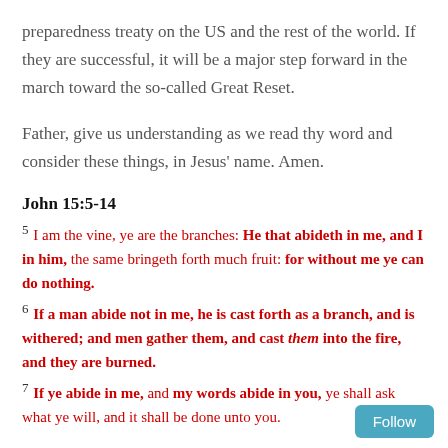preparedness treaty on the US and the rest of the world. If they are successful, it will be a major step forward in the march toward the so-called Great Reset.
Father, give us understanding as we read thy word and consider these things, in Jesus' name. Amen.
John 15:5-14
5 I am the vine, ye are the branches: He that abideth in me, and I in him, the same bringeth forth much fruit: for without me ye can do nothing.
6 If a man abide not in me, he is cast forth as a branch, and is withered; and men gather them, and cast them into the fire, and they are burned.
7 If ye abide in me, and my words abide in you, ye shall ask what ye will, and it shall be done unto you.